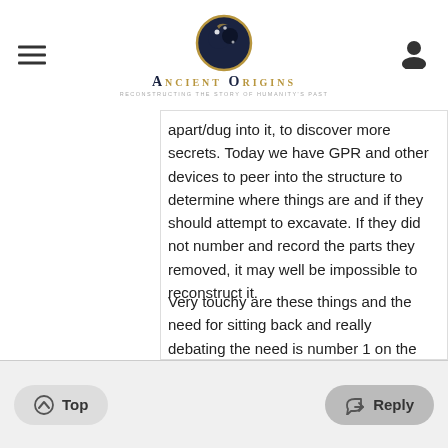Ancient Origins — Reconstructing the story of humanity's past
apart/dug into it, to discover more secrets. Today we have GPR and other devices to peer into the structure to determine where things are and if they should attempt to excavate. If they did not number and record the parts they removed, it may well be impossible to reconstruct it.
Very touchy are these things and the need for sitting back and really debating the need is number 1 on the archaeological menu in my opinion
Top  Reply